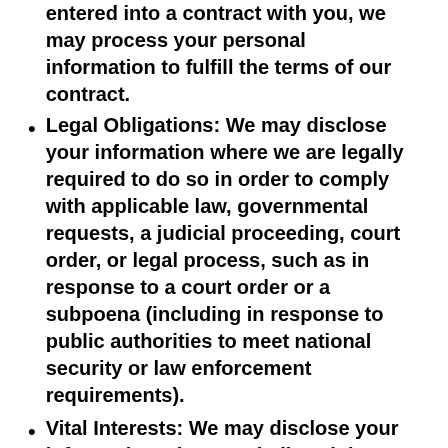Performance of a Contract: Where we have entered into a contract with you, we may process your personal information to fulfill the terms of our contract.
Legal Obligations: We may disclose your information where we are legally required to do so in order to comply with applicable law, governmental requests, a judicial proceeding, court order, or legal process, such as in response to a court order or a subpoena (including in response to public authorities to meet national security or law enforcement requirements).
Vital Interests: We may disclose your information where we believe it is necessary to investigate, prevent, or take action regarding potential violations of our policies, suspected fraud, situations involving potential threats to the safety of any person and illegal activities, or